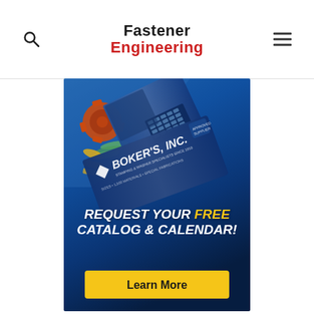Fastener Engineering
[Figure (infographic): Advertisement for Boker's Inc. showing a catalog with various stamped metal fastener parts (washers, springs, stampings) on a blue background. Text reads: REQUEST YOUR FREE CATALOG & CALENDAR! with a Learn More button.]